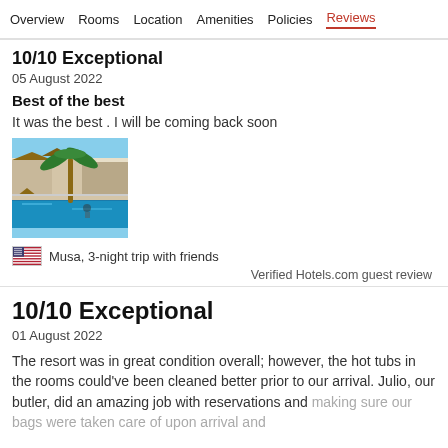Overview  Rooms  Location  Amenities  Policies  Reviews
10/10 Exceptional
05 August 2022
Best of the best
It was the best . I will be coming back soon
[Figure (photo): Hotel pool area with palm tree and resort buildings in background]
Musa, 3-night trip with friends
Verified Hotels.com guest review
10/10 Exceptional
01 August 2022
The resort was in great condition overall; however, the hot tubs in the rooms could've been cleaned better prior to our arrival. Julio, our butler, did an amazing job with reservations and making sure our bags were taken care of upon arrival and ...